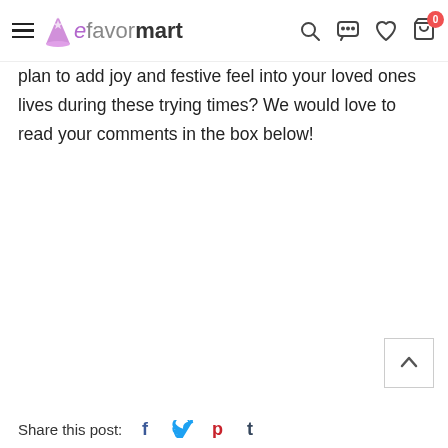efavormart — navigation bar with hamburger menu, logo, search, chat, wishlist, cart (0)
plan to add joy and festive feel into your loved ones lives during these trying times? We would love to read your comments in the box below!
[Figure (other): Back to top arrow button in bottom-right corner]
Share this post: